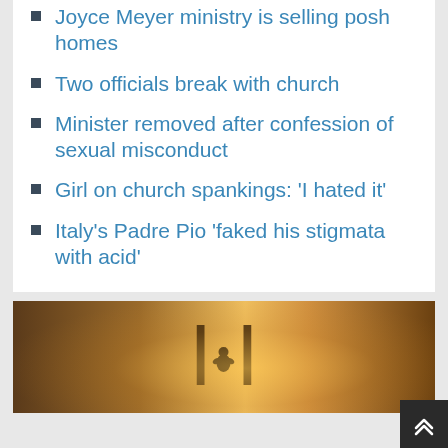Joyce Meyer ministry is selling posh homes
Two officials break with church
Minister removed after confession of sexual misconduct
Girl on church spankings: 'I hated it'
Italy's Padre Pio 'faked his stigmata with acid'
[Figure (photo): A small bird silhouette between two wooden pillars with warm backlit glow, partially cropped at bottom of page]